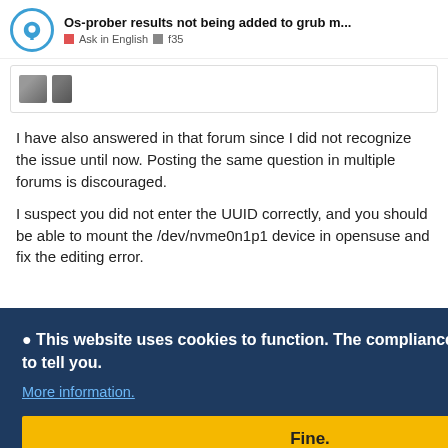Os-prober results not being added to grub m... Ask in English f35
[Figure (screenshot): User avatar partial thumbnail in a bordered card]
I have also answered in that forum since I did not recognize the issue until now. Posting the same question in multiple forums is discouraged.
I suspect you did not enter the UUID correctly, and you should be able to mount the /dev/nvme0n1p1 device in opensuse and fix the editing error.
Cookie banner overlay: This website uses cookies to function. The compliance people asked us to tell you. More information. Fine.